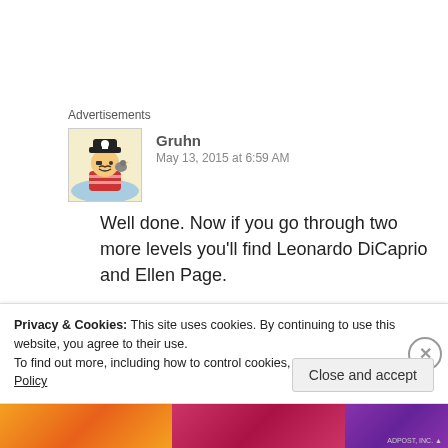Advertisements
[Figure (illustration): Cartoon avatar of a pirate character in water, wearing a hat with skull, red striped shirt, with a bird]
Gruhn
May 13, 2015 at 6:59 AM
Well done. Now if you go through two more levels you’ll find Leonardo DiCaprio and Ellen Page.
★ Liked by 1 person
Privacy & Cookies: This site uses cookies. By continuing to use this website, you agree to their use.
To find out more, including how to control cookies, see here: Cookie Policy
Close and accept